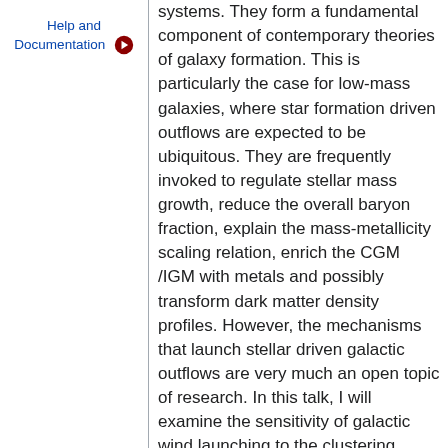Help and Documentation
systems. They form a fundamental component of contemporary theories of galaxy formation. This is particularly the case for low-mass galaxies, where star formation driven outflows are expected to be ubiquitous. They are frequently invoked to regulate stellar mass growth, reduce the overall baryon fraction, explain the mass-metallicity scaling relation, enrich the CGM/IGM with metals and possibly transform dark matter density profiles. However, the mechanisms that launch stellar driven galactic outflows are very much an open topic of research. In this talk, I will examine the sensitivity of galactic wind launching to the clustering properties of supernovae in space and time. In particular, I will show how the dispersal of star forming clouds by pre-supernova feedback can modulate the clustering of supernovae, their ability to form superheated bubbles and...